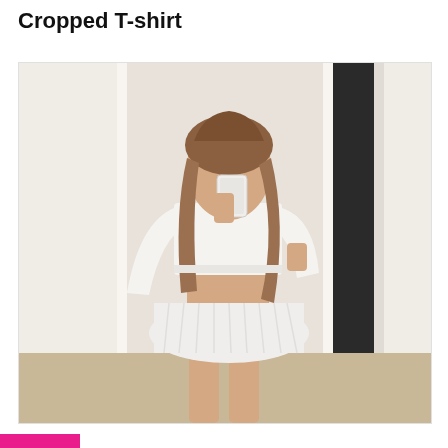Cropped T-shirt
[Figure (photo): Mirror selfie of a young woman wearing a white long-sleeve cropped top and white pleated mini skirt, holding a white smartphone to take the photo. The background shows a room with white walls and a dark doorway.]